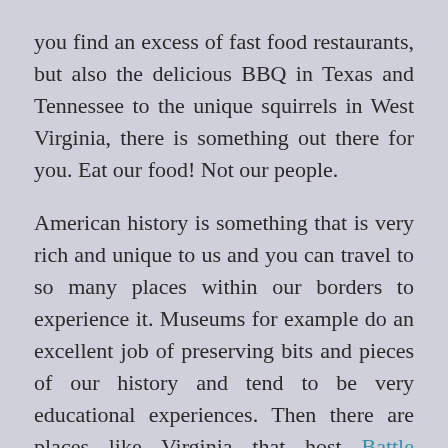you find an excess of fast food restaurants, but also the delicious BBQ in Texas and Tennessee to the unique squirrels in West Virginia, there is something out there for you. Eat our food! Not our people.

American history is something that is very rich and unique to us and you can travel to so many places within our borders to experience it. Museums for example do an excellent job of preserving bits and pieces of our history and tend to be very educational experiences. Then there are places like Virginia that host Battle Reenactments mostly centered around the Civil War. These are experiences you are not likey to forget. Not only are they filled with the